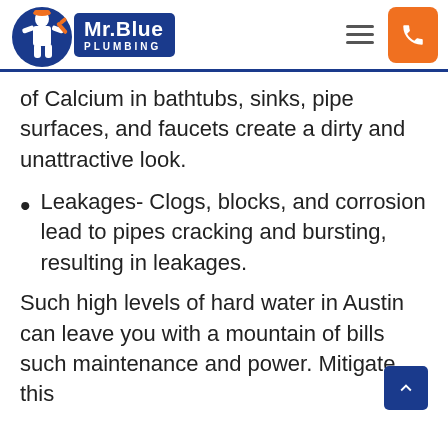[Figure (logo): Mr. Blue Plumbing logo with plumber figure in blue circle and blue rectangular badge with white text 'Mr.Blue PLUMBING']
of Calcium in bathtubs, sinks, pipe surfaces, and faucets create a dirty and unattractive look.
Leakages- Clogs, blocks, and corrosion lead to pipes cracking and bursting, resulting in leakages.
Such high levels of hard water in Austin can leave you with a mountain of bills such maintenance and power. Mitigate this